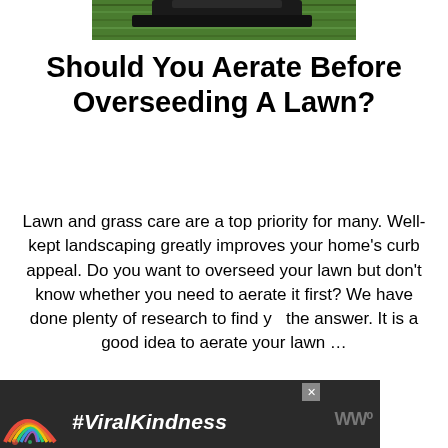[Figure (photo): Partial view of a lawn mower on green grass, cropped at top of page]
Should You Aerate Before Overseeding A Lawn?
Lawn and grass care are a top priority for many. Well-kept landscaping greatly improves your home’s curb appeal. Do you want to overseed your lawn but don’t know whether you need to aerate it first? We have done plenty of research to find the answer. It is a good idea to aerate your lawn …
[Figure (screenshot): Green READ MORE button]
[Figure (screenshot): Share button (social share icon) overlaid on right side]
[Figure (screenshot): WHAT'S NEXT panel showing thumbnail and text: How To Propagate...]
[Figure (screenshot): Advertisement banner with rainbow chalk art and #ViralKindness text on dark background]